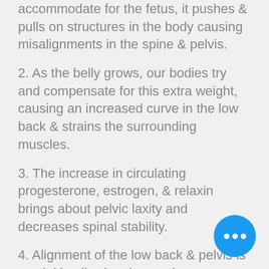accommodate for the fetus, it pushes & pulls on structures in the body causing misalignments in the spine & pelvis.
2. As the belly grows, our bodies try and compensate for this extra weight, causing an increased curve in the low back & strains the surrounding muscles.
3. The increase in circulating progesterone, estrogen, & relaxin brings about pelvic laxity and decreases spinal stability.
4. Alignment of the low back & pelvis is crucial in allowing the maximum amount of space for baby to gr… proper alignment decreases the likelihood of brooch presentations